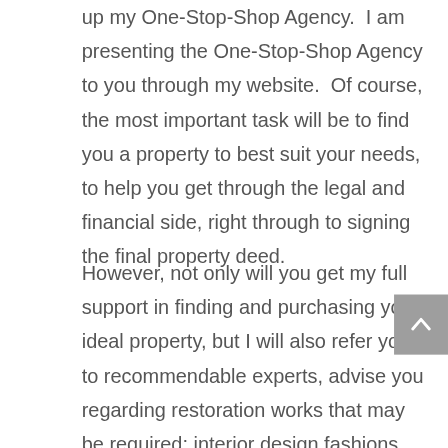up my One-Stop-Shop Agency. I am presenting the One-Stop-Shop Agency to you through my website. Of course, the most important task will be to find you a property to best suit your needs, to help you get through the legal and financial side, right through to signing the final property deed.
However, not only will you get my full support in finding and purchasing your ideal property, but I will also refer you to recommendable experts, advise you regarding restoration works that may be required; interior design fashions, high